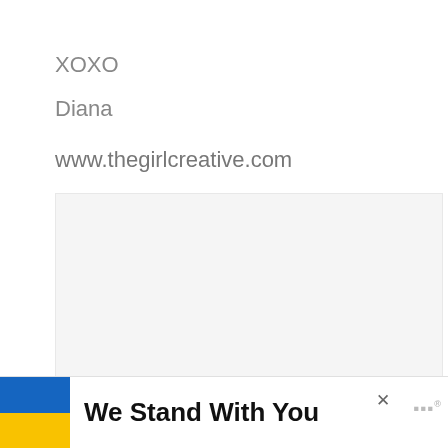XOXO
Diana
www.thegirlcreative.com
[Figure (other): Large light gray placeholder image box with a share button overlay and a 'What's Next' content recommendation widget showing 'One Pot Meals and Easy...' with a food image thumbnail]
We Stand With You